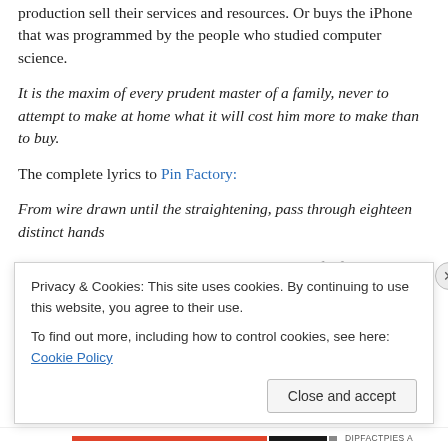production sell their services and resources. Or buys the iPhone that was programmed by the people who studied computer science.
It is the maxim of every prudent master of a family, never to attempt to make at home what it will cost him more to make than to buy.
The complete lyrics to Pin Factory:
From wire drawn until the straightening, pass through eighteen distinct hands
Ten people now could make more in a day than if left to do
Privacy & Cookies: This site uses cookies. By continuing to use this website, you agree to their use.
To find out more, including how to control cookies, see here: Cookie Policy
Close and accept